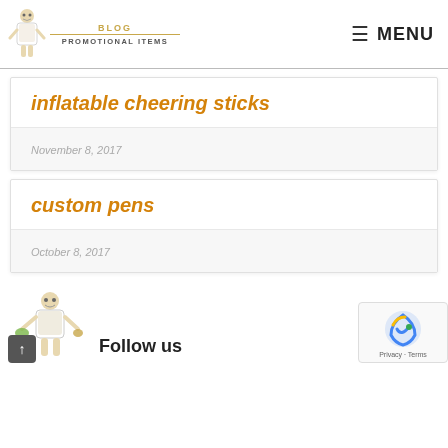BLOG PROMOTIONAL ITEMS — MENU
inflatable cheering sticks
November 8, 2017
custom pens
October 8, 2017
Follow us